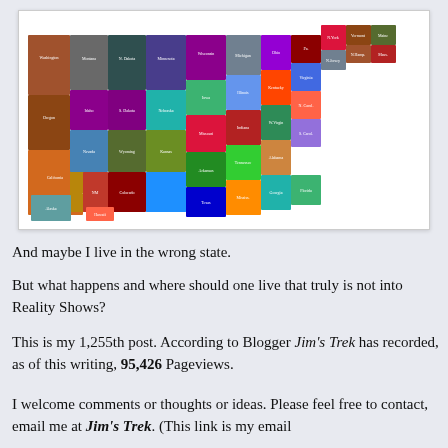[Figure (map): Colorful map of the United States with each state labeled and filled with a different color, appearing to show something notable or famous about each state.]
And maybe I live in the wrong state.
But what happens and where should one live that truly is not into Reality Shows?
This is my 1,255th post. According to Blogger Jim's Trek has recorded, as of this writing, 95,426 Pageviews.
I welcome comments or thoughts or ideas. Please feel free to contact, email me at Jim's Trek. (This link is my email address with 50+ email users.)